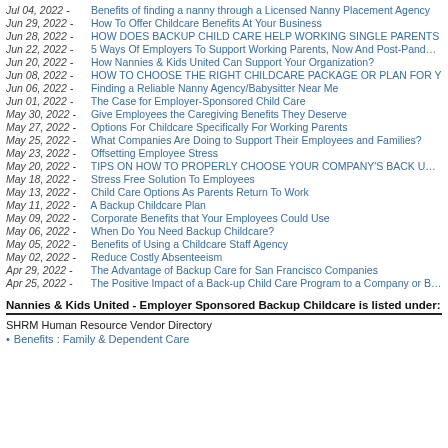Jul 04, 2022 - Benefits of finding a nanny through a Licensed Nanny Placement Agency
Jun 29, 2022 - How To Offer Childcare Benefits At Your Business
Jun 28, 2022 - HOW DOES BACKUP CHILD CARE HELP WORKING SINGLE PARENTS
Jun 22, 2022 - 5 Ways Of Employers To Support Working Parents, Now And Post-Pandemic
Jun 20, 2022 - How Nannies & Kids United Can Support Your Organization?
Jun 08, 2022 - HOW TO CHOOSE THE RIGHT CHILDCARE PACKAGE OR PLAN FOR Y
Jun 06, 2022 - Finding a Reliable Nanny Agency/Babysitter Near Me
Jun 01, 2022 - The Case for Employer-Sponsored Child Care
May 30, 2022 - Give Employees the Caregiving Benefits They Deserve
May 27, 2022 - Options For Childcare Specifically For Working Parents
May 25, 2022 - What Companies Are Doing to Support Their Employees and Families?
May 23, 2022 - Offsetting Employee Stress
May 20, 2022 - TIPS ON HOW TO PROPERLY CHOOSE YOUR COMPANY'S BACK UP C
May 18, 2022 - Stress Free Solution To Employees
May 13, 2022 - Child Care Options As Parents Return To Work
May 11, 2022 - A Backup Childcare Plan
May 09, 2022 - Corporate Benefits that Your Employees Could Use
May 06, 2022 - When Do You Need Backup Childcare?
May 05, 2022 - Benefits of Using a Childcare Staff Agency
May 02, 2022 - Reduce Costly Absenteeism
Apr 29, 2022 - The Advantage of Backup Care for San Francisco Companies
Apr 25, 2022 - The Positive Impact of a Back-up Child Care Program to a Company or Busine
Nannies & Kids United - Employer Sponsored Backup Childcare is listed under:
SHRM Human Resource Vendor Directory
Benefits : Family & Dependent Care